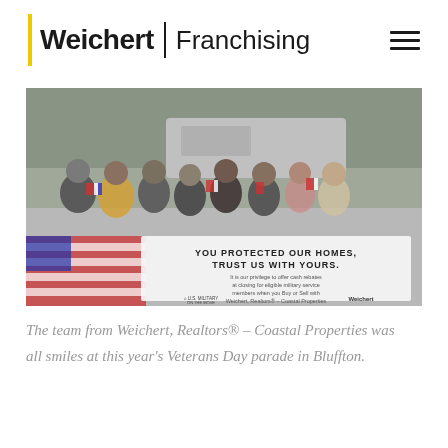Weichert | Franchising
[Figure (photo): Group photo of the Weichert, Realtors – Coastal Properties team at a Veterans Day parade in Bluffton, holding American flags and a banner that reads 'YOU PROTECTED OUR HOMES, TRUST US WITH YOURS.' with U.S. Military on the Move and Weichert logos.]
The team from Weichert, Realtors® – Coastal Properties was all smiles at this year's Veterans Day parade in Bluffton.